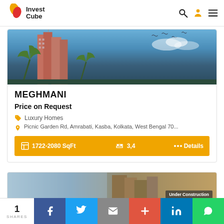InvestCube
[Figure (photo): Luxury high-rise apartment buildings with palm trees against a blue sky]
MEGHMANI
Price on Request
Luxury Homes
Picnic Garden Rd, Amrabati, Kasba, Kolkata, West Bengal 70...
1722-2080 SqFt  3,4  Details
[Figure (photo): Partial view of second property listing with Under Construction badge]